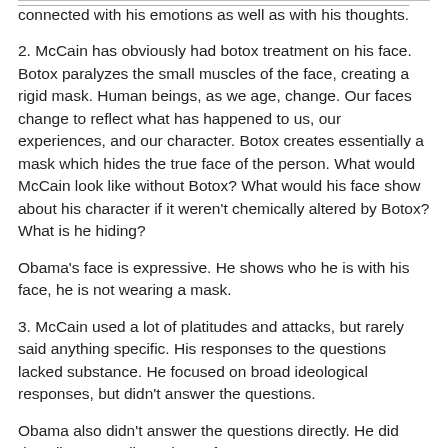connected with his emotions as well as with his thoughts.
2. McCain has obviously had botox treatment on his face. Botox paralyzes the small muscles of the face, creating a rigid mask. Human beings, as we age, change. Our faces change to reflect what has happened to us, our experiences, and our character. Botox creates essentially a mask which hides the true face of the person. What would McCain look like without Botox? What would his face show about his character if it weren't chemically altered by Botox? What is he hiding?
Obama's face is expressive. He shows who he is with his face, he is not wearing a mask.
3. McCain used a lot of platitudes and attacks, but rarely said anything specific. His responses to the questions lacked substance. He focused on broad ideological responses, but didn't answer the questions.
Obama also didn't answer the questions directly. He did describe a coordinated set of responses to curent situations, and made connections between the economy, education,